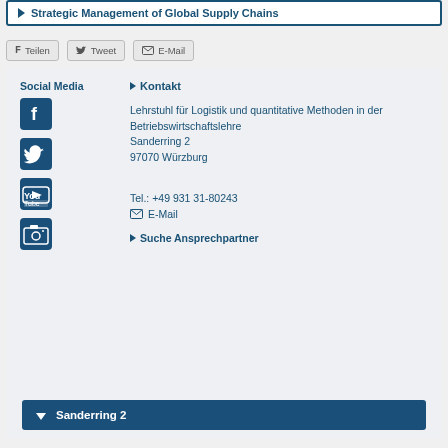Strategic Management of Global Supply Chains
Teilen  Tweet  E-Mail
Social Media
[Figure (illustration): Facebook icon (blue square with f)]
[Figure (illustration): Twitter icon (blue square with bird)]
[Figure (illustration): YouTube icon (blue square with tube logo)]
[Figure (illustration): Camera/Instagram icon (blue square with camera)]
Kontakt
Lehrstuhl für Logistik und quantitative Methoden in der Betriebswirtschaftslehre
Sanderring 2
97070 Würzburg
Tel.: +49 931 31-80243
E-Mail
Suche Ansprechpartner
Sanderring 2